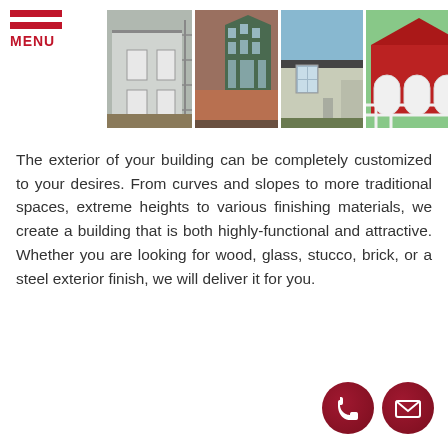[Figure (photo): Navigation menu icon with red hamburger lines and MENU text]
[Figure (photo): Four photos of buildings: a building under construction with scaffolding, a brick and glass modern building, a large steel commercial building, and a red barn-style building with white garage doors and fence]
The exterior of your building can be completely customized to your desires. From curves and slopes to more traditional spaces, extreme heights to various finishing materials, we create a building that is both highly-functional and attractive. Whether you are looking for wood, glass, stucco, brick, or a steel exterior finish, we will deliver it for you.
[Figure (infographic): Two dark red circular icons — a phone/call icon and an envelope/email icon]